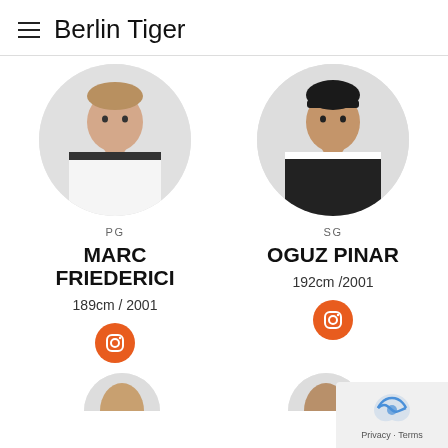Berlin Tiger
[Figure (photo): Circular portrait photo of Marc Friederici in white basketball jersey]
PG
MARC FRIEDERICI
189cm / 2001
[Figure (photo): Circular portrait photo of Oguz Pinar in black basketball jersey]
SG
OGUZ PINAR
192cm /2001